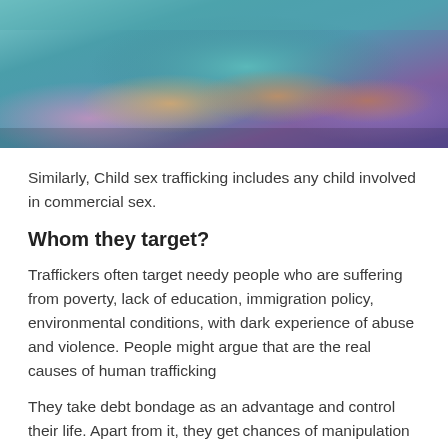[Figure (photo): Close-up photo of young girls/women, one wearing a teal/turquoise headscarf and one in a pink top, smiling and close together]
Similarly, Child sex trafficking includes any child involved in commercial sex.
Whom they target?
Traffickers often target needy people who are suffering from poverty, lack of education, immigration policy, environmental conditions, with dark experience of abuse and violence. People might argue that are the real causes of human trafficking
They take debt bondage as an advantage and control their life. Apart from it, they get chances of manipulation and threats.